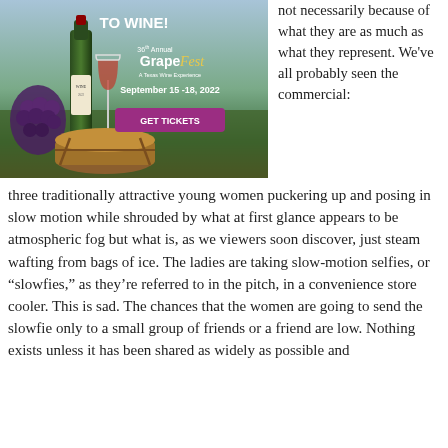[Figure (advertisement): 36th Annual GrapeFest - A Texas Wine Experience advertisement showing wine bottle, wine glass, grapes, and barrel. Text: 'TO WINE! 36th Annual GrapeFest A Texas Wine Experience September 15-18, 2022 GET TICKETS']
not necessarily because of what they are as much as what they represent. We've all probably seen the commercial:
three traditionally attractive young women puckering up and posing in slow motion while shrouded by what at first glance appears to be atmospheric fog but what is, as we viewers soon discover, just steam wafting from bags of ice. The ladies are taking slow-motion selfies, or "slowfies," as they're referred to in the pitch, in a convenience store cooler. This is sad. The chances that the women are going to send the slowfie only to a small group of friends or a friend are low. Nothing exists unless it has been shared as widely as possible and